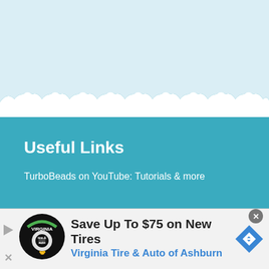[Figure (illustration): Light blue sky background at top transitioning to teal wave pattern, representing a website section divider with cloud-like scalloped wave edge in white separating a light blue sky area from a teal/ocean-colored section below.]
Useful Links
TurboBeads on YouTube: Tutorials & more
[Figure (infographic): Advertisement bar at bottom showing Virginia Tire & Auto of Ashburn ad. Contains circular logo with tire and auto imagery, text 'Save Up To $75 on New Tires' in bold dark text, 'Virginia Tire & Auto of Ashburn' in blue, a blue navigation/directions icon on the right, a play arrow icon on the left, and an X close button.]